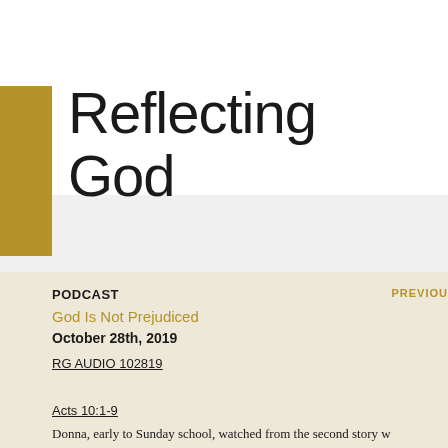Reflecting God
PODCAST
PREVIOU
God Is Not Prejudiced
October 28th, 2019
RG AUDIO 102819
Acts 10:1-9
Donna, early to Sunday school, watched from the second story w as people drove to the church parking lot in their late-model car